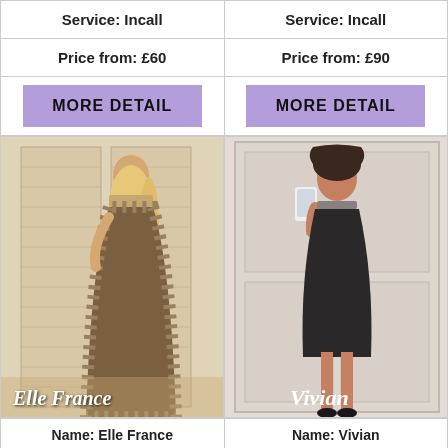| Service: Incall | Service: Incall |
| Price from: £60 | Price from: £90 |
| MORE DETAIL | MORE DETAIL |
[Figure (photo): Photo of a woman in a long patterned dress standing in a room, with name overlay 'Elle France']
[Figure (photo): Photo of a woman in a black dress taking a mirror selfie, with name overlay 'Vivian']
| Name: Elle France | Name: Vivian |